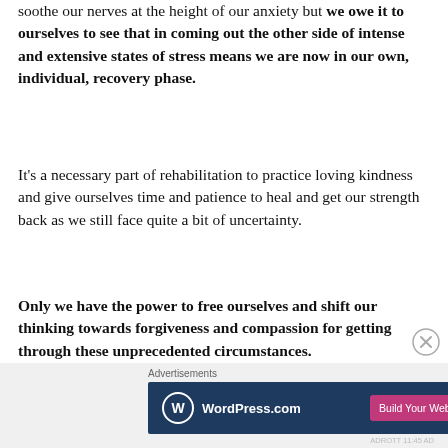soothe our nerves at the height of our anxiety but we owe it to ourselves to see that in coming out the other side of intense and extensive states of stress means we are now in our own, individual, recovery phase.
It's a necessary part of rehabilitation to practice loving kindness and give ourselves time and patience to heal and get our strength back as we still face quite a bit of uncertainty.
Only we have the power to free ourselves and shift our thinking towards forgiveness and compassion for getting through these unprecedented circumstances.
Louise Hav offers some better alternatives for positive
[Figure (other): WordPress.com advertisement banner with blue background, WordPress logo on left, and pink 'Build Your Website' button on right. Labeled 'Advertisements' above.]